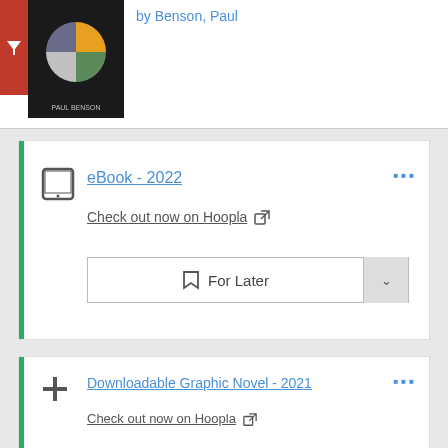by Benson, Paul
[Figure (photo): Book cover with pie chart design, Paul Benson]
eBook - 2022
Check out now on Hoopla
For Later
[Figure (photo): E.I.: Earth Invasion comic book cover Issue #37, green tentacled monster]
E.I.: Earth Invasion
Issue #37
by Benson, Paul
Downloadable Graphic Novel - 2021
Check out now on Hoopla